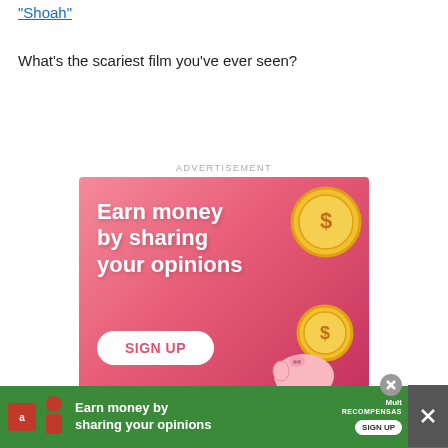"Shoah"
What's the scariest film you've ever seen?
ADVERTISEMENT
[Figure (infographic): Pink advertisement banner with text 'Earn money by sharing your opinions', gold coins, piggy bank illustration, and a 'SIGN UP' button.]
[Figure (infographic): Green bottom banner advertisement: 'Earn money by sharing your opinions' with Amazon logo, woman illustration, Mult Recompensas logo and SIGN UP button. Close buttons visible.]